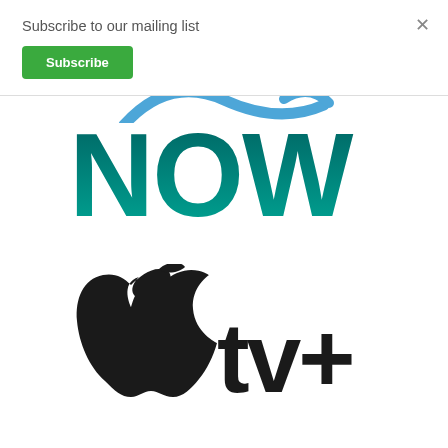Subscribe to our mailing list
Subscribe
×
[Figure (logo): Partial blue arc/circle logo at top of content area]
[Figure (logo): NOW TV logo in dark teal/green gradient lettering]
[Figure (logo): Apple TV+ logo with Apple symbol and 'tv+' text in black]